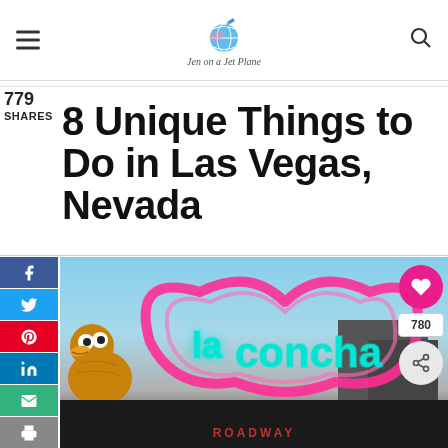Jen on a Jet Plane
779
SHARES
8 Unique Things to Do in Las Vegas, Nevada
[Figure (photo): Photo of the La Concha neon sign in Las Vegas with a large pink neon shell shape and teal neon lettering reading 'La Concha', with a cartoon duck character visible on the left side. Sky is blue behind the sign.]